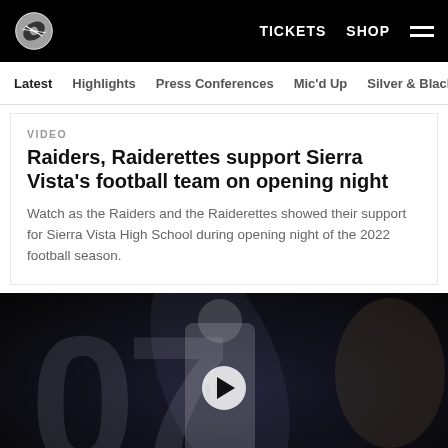Raiders — TICKETS  SHOP  [menu]
Latest  Highlights  Press Conferences  Mic'd Up  Silver & Black
VIDEO
Raiders, Raiderettes support Sierra Vista's football team on opening night
Watch as the Raiders and the Raiderettes showed their support for Sierra Vista High School during opening night of the 2022 football season.
[Figure (photo): Video thumbnail showing a Raiders football player wearing jersey number 17 in a dark stylized background with a large '07' graphic. A play button overlay is visible in the center.]